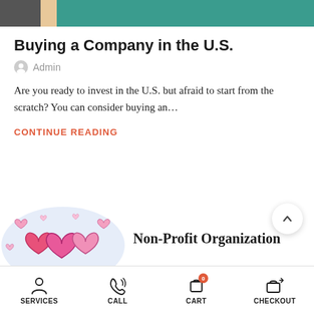[Figure (illustration): Top banner image showing a partial illustration with dark gray, peach/tan, and teal/green sections — appears to be a cropped header image for the blog post]
Buying a Company in the U.S.
Admin
Are you ready to invest in the U.S. but afraid to start from the scratch? You can consider buying an...
CONTINUE READING
[Figure (illustration): Illustration of colorful hearts (pink and magenta) on a light lavender/blue soft blob background — decorative image for the Non-Profit Organization article]
Non-Profit Organization
SERVICES  CALL  Cart  CHECKOUT